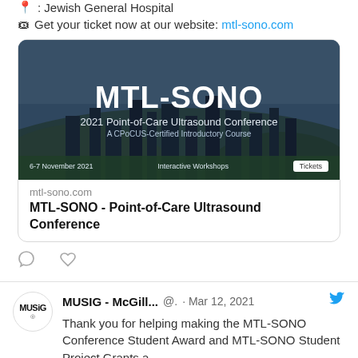📍 : Jewish General Hospital
🎫 Get your ticket now at our website: mtl-sono.com
[Figure (screenshot): MTL-SONO 2021 Point-of-Care Ultrasound Conference banner with city skyline background, showing event details: 6-7 November 2021, Interactive Workshops, Tickets button. Below the image: mtl-sono.com URL and title 'MTL-SONO - Point-of-Care Ultrasound Conference']
Thank you for helping making the MTL-SONO Conference Student Award and MTL-SONO Student Project Grants a
MUSIG - McGill... @. · Mar 12, 2021